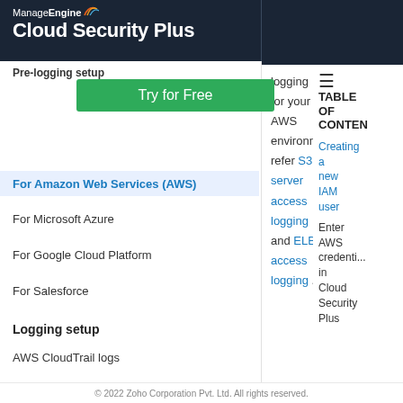ManageEngine Cloud Security Plus Help Document
Pre-logging setup
[Figure (other): Try for Free green button]
For Amazon Web Services (AWS)
For Microsoft Azure
For Google Cloud Platform
For Salesforce
Logging setup
AWS CloudTrail logs
AWS S3 server access logs
AWS ELB access logs
Azure activity logs
logging for your AWS environment, refer S3 server access logging and ELB access logging .
TABLE OF CONTENTS
Creating a new IAM user
Enter AWS credentials in Cloud Security Plus
© 2022 Zoho Corporation Pvt. Ltd. All rights reserved.